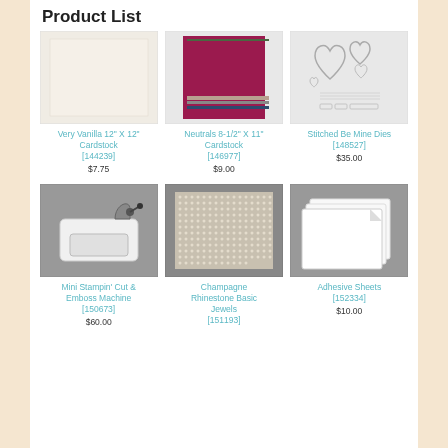Product List
[Figure (photo): Very Vanilla 12x12 cardstock - plain cream colored square sheet]
Very Vanilla 12" X 12" Cardstock
[144239]
$7.75
[Figure (photo): Neutrals 8-1/2 X 11 Cardstock - stack of colored paper sheets with crimson top]
Neutrals 8-1/2" X 11" Cardstock
[146977]
$9.00
[Figure (photo): Stitched Be Mine Dies - metal die cuts with heart shapes and decorative elements]
Stitched Be Mine Dies
[148527]
$35.00
[Figure (photo): Mini Stampin' Cut & Emboss Machine - white compact die cutting machine]
Mini Stampin' Cut &
Emboss Machine
[150673]
$60.00
[Figure (photo): Champagne Rhinestone Basic Jewels - sheet of rhinestone jewels]
Champagne
Rhinestone Basic
Jewels
[151193]
[Figure (photo): Adhesive Sheets - stack of white adhesive sheets]
Adhesive Sheets
[152334]
$10.00